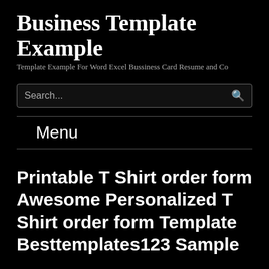Business Template Example
Template Example For Word Excel Bussiness Card Resume and Co
Search...
Menu
Printable T Shirt order form Awesome Personalized T Shirt order form Template Besttemplates123 Sample